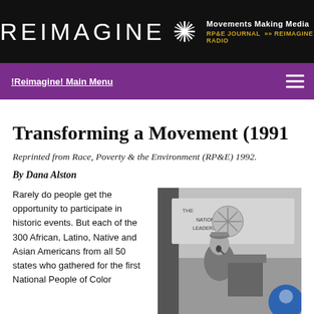[Figure (logo): Reimagine website header with logo text, starburst icon, 'Movements Making Media' tagline, and 'RP&E JOURNAL >> REIMAGINE RADIO' sublinks on black background]
!Reimagine! Main Menu
Transforming a Movement (1991
Reprinted from Race, Poverty & the Environment (RP&E) 1992.
By Dana Alston
Rarely do people get the opportunity to participate in historic events. But each of the 300 African, Latino, Native and Asian Americans from all 50 states who gathered for the first National People of Color
[Figure (photo): Black and white photograph of a person speaking at a podium with a banner in the background reading 'National People of Color Leadership' conference]